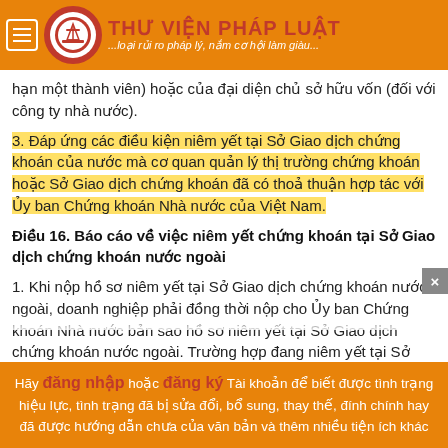THƯ VIỆN PHÁP LUẬT ...loại rủi ro pháp lý, nắm cơ hội làm giàu...
hạn một thành viên) hoặc của đại diện chủ sở hữu vốn (đối với công ty nhà nước).
3. Đáp ứng các điều kiện niêm yết tại Sở Giao dịch chứng khoán của nước mà cơ quan quản lý thị trường chứng khoán hoặc Sở Giao dịch chứng khoán đã có thoả thuận hợp tác với Ủy ban Chứng khoán Nhà nước của Việt Nam.
Điều 16. Báo cáo về việc niêm yết chứng khoán tại Sở Giao dịch chứng khoán nước ngoài
1. Khi nộp hồ sơ niêm yết tại Sở Giao dịch chứng khoán nước ngoài, doanh nghiệp phải đồng thời nộp cho Ủy ban Chứng khoán Nhà nước bản sao hồ sơ niêm yết tại Sở Giao dịch chứng khoán nước ngoài. Trường hợp đang niêm yết tại Sở Giao dịch chứng khoán, Trung tâm Giao dịch chứng khoán trong nước thì doanh
Hãy đăng nhập hoặc đăng ký Tài khoản để biết được tình trạng hiệu lực, tình trạng đã bị sửa đổi, bổ sung, thay thế, đính chính hay đã được hướng dẫn chưa của văn bản và thêm nhiều tiện ích khác